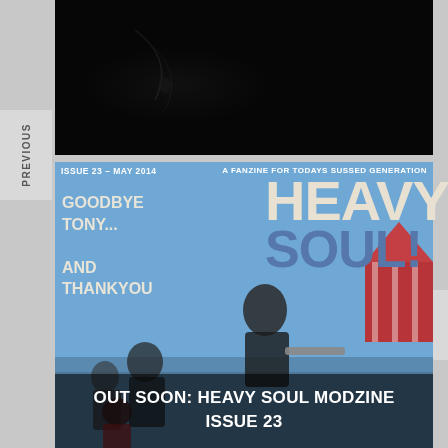[Figure (photo): Dark/nearly black photograph, top section of page]
PREVIOUS
NEXT
[Figure (photo): Magazine cover: Heavy Soul! Modzine Issue 23 - May 2014. Cover shows a man on a scooter/motorbike at what appears to be a fairground. Text reads: ISSUE 23 - MAY 2014, A FANZINE FOR TODAYS SUSSED GENERATION, GOODBYE TONY... AND THANKYOU, HEAVY SOUL!]
OUT SOON: HEAVY SOUL MODZINE ISSUE 23